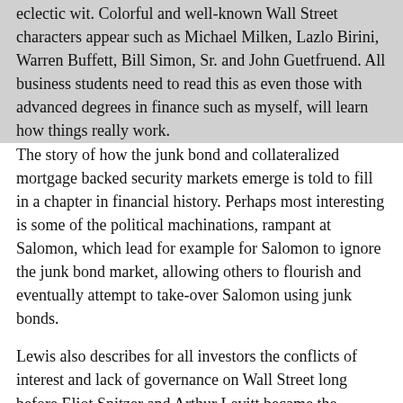eclectic wit. Colorful and well-known Wall Street characters appear such as Michael Milken, Lazlo Birini, Warren Buffett, Bill Simon, Sr. and John Guetfruend. All business students need to read this as even those with advanced degrees in finance such as myself, will learn how things really work. The story of how the junk bond and collateralized mortgage backed security markets emerge is told to fill in a chapter in financial history. Perhaps most interesting is some of the political machinations, rampant at Salomon, which lead for example for Salomon to ignore the junk bond market, allowing others to flourish and eventually attempt to take-over Salomon using junk bonds.
Lewis also describes for all investors the conflicts of interest and lack of governance on Wall Street long before Eliot Spitzer and Arthur Levitt became the champions of the little guy. My next step is to read Lewis's later books.
[Figure (photo): Small thumbnail image of a book cover, tan/beige color]